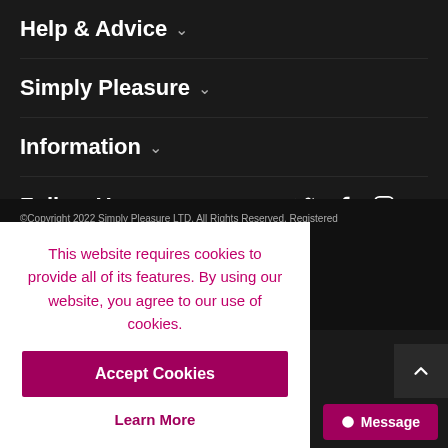Help & Advice ∨
Simply Pleasure ∨
Information ∨
Follow Us   🐦  f  📷  ∨
©Copyright 2022 Simply Pleasure LTD. All Rights Reserved. Registered ... owngate House, 2-8 Parkstone Rd, ...15 2PW, UK
[Figure (logo): Mastercard and PayPal payment logos]
edirect
This website requires cookies to provide all of its features. By using our website, you agree to our use of cookies.
Accept Cookies
Learn More
Message